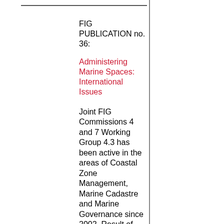FIG PUBLICATION no. 36: Administering Marine Spaces: International Issues
Joint FIG Commissions 4 and 7 Working Group 4.3 has been active in the areas of Coastal Zone Management, Marine Cadastre and Marine Governance since 2002. Result of